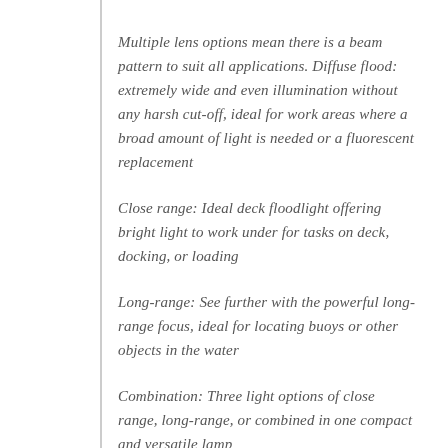Multiple lens options mean there is a beam pattern to suit all applications. Diffuse flood: extremely wide and even illumination without any harsh cut-off, ideal for work areas where a broad amount of light is needed or a fluorescent replacement
Close range: Ideal deck floodlight offering bright light to work under for tasks on deck, docking, or loading
Long-range: See further with the powerful long-range focus, ideal for locating buoys or other objects in the water
Combination: Three light options of close range, long-range, or combined in one compact and versatile lamp
Providing unmatched corrosion resistance due